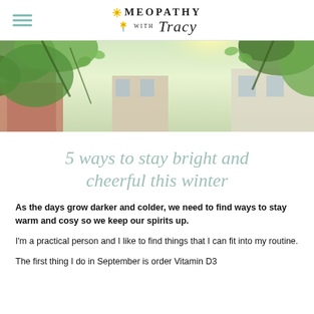Homeopathy with Tracy
[Figure (photo): Outdoor photo looking up through green tree leaves toward sunlit buildings and sky]
5 ways to stay bright and cheerful this winter
As the days grow darker and colder, we need to find ways to stay warm and cosy so we keep our spirits up.
I'm a practical person and I like to find things that I can fit into my routine.
The first thing I do in September is order Vitamin D3